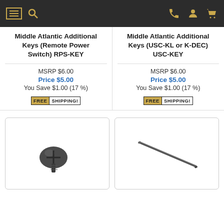Navigation bar with menu, search, phone, account, and cart icons
Middle Atlantic Additional Keys (Remote Power Switch) RPS-KEY
Middle Atlantic Additional Keys (USC-KL or K-DEC) USC-KEY
MSRP $6.00
Price $5.00
You Save $1.00 (17 %)
MSRP $6.00
Price $5.00
You Save $1.00 (17 %)
FREE SHIPPING!
FREE SHIPPING!
[Figure (photo): A Phillips head screw with a round black head viewed at an angle]
[Figure (photo): A long thin metal rod or antenna at a diagonal angle]